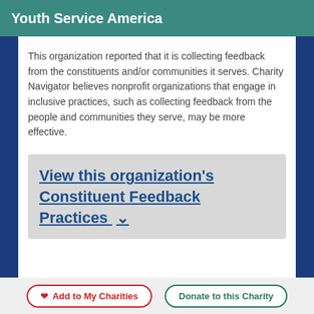Youth Service America
This organization reported that it is collecting feedback from the constituents and/or communities it serves. Charity Navigator believes nonprofit organizations that engage in inclusive practices, such as collecting feedback from the people and communities they serve, may be more effective.
View this organization's Constituent Feedback Practices
Add to My Charities   Donate to this Charity